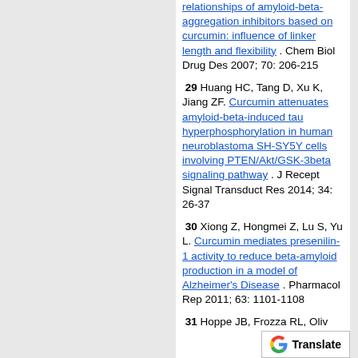relationships of amyloid-beta-aggregation inhibitors based on curcumin: influence of linker length and flexibility. Chem Biol Drug Des 2007; 70: 206-215
29 Huang HC, Tang D, Xu K, Jiang ZF. Curcumin attenuates amyloid-beta-induced tau hyperphosphorylation in human neuroblastoma SH-SY5Y cells involving PTEN/Akt/GSK-3beta signaling pathway. J Recept Signal Transduct Res 2014; 34: 26-37
30 Xiong Z, Hongmei Z, Lu S, Yu L. Curcumin mediates presenilin-1 activity to reduce beta-amyloid production in a model of Alzheimer's Disease. Pharmacol Rep 2011; 63: 1101-1108
31 Hoppe JB, Frozza RL, Oliv...